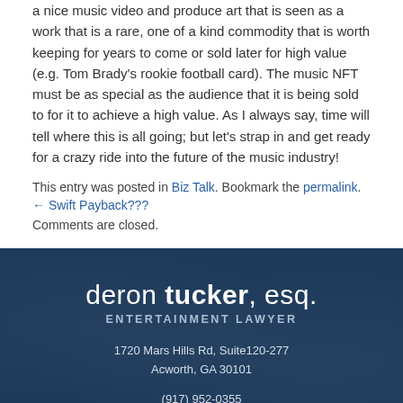a nice music video and produce art that is seen as a work that is a rare, one of a kind commodity that is worth keeping for years to come or sold later for high value (e.g. Tom Brady's rookie football card). The music NFT must be as special as the audience that it is being sold to for it to achieve a high value. As I always say, time will tell where this is all going; but let's strap in and get ready for a crazy ride into the future of the music industry!
This entry was posted in Biz Talk. Bookmark the permalink.
← Swift Payback???
Comments are closed.
deron tucker, esq. ENTERTAINMENT LAWYER
1720 Mars Hills Rd, Suite120-277
Acworth, GA 30101
(917) 952-0355